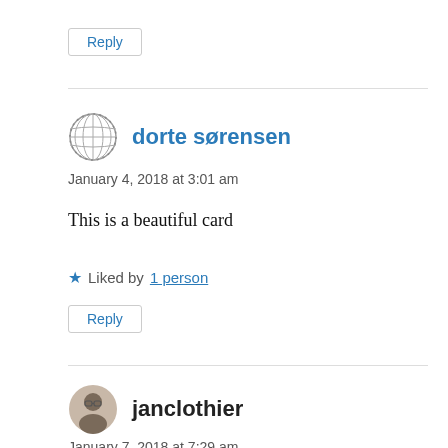Reply
dorte sørensen
January 4, 2018 at 3:01 am
This is a beautiful card
Liked by 1 person
Reply
janclothier
January 7, 2018 at 7:29 am